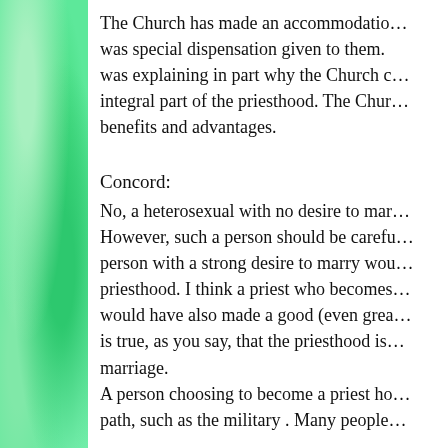The Church has made an accommodation. was special dispensation given to them. was explaining in part why the Church considered celibacy an integral part of the priesthood. The Church benefits and advantages.
Concord:
No, a heterosexual with no desire to marry. However, such a person should be careful. A person with a strong desire to marry would leave the priesthood. I think a priest who becomes would have also made a good (even great). is true, as you say, that the priesthood is incompatible with marriage. A person choosing to become a priest has chosen a path, such as the military. Many people